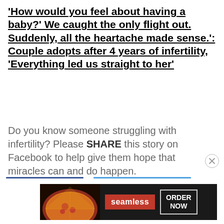'How would you feel about having a baby?' We caught the only flight out. Suddenly, all the heartache made sense.': Couple adopts after 4 years of infertility, 'Everything led us straight to her'
Do you know someone struggling with infertility? Please SHARE this story on Facebook to help give them hope that miracles can and do happen.
[Figure (other): Advertisement banner for Seamless food delivery showing pizza image, Seamless logo in red, and ORDER NOW button]